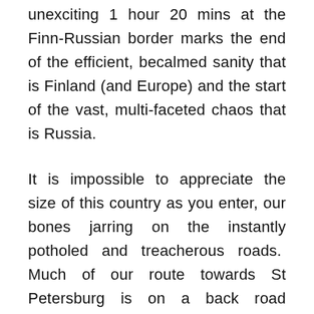unexciting 1 hour 20 mins at the Finn-Russian border marks the end of the efficient, becalmed sanity that is Finland (and Europe) and the start of the vast, multi-faceted chaos that is Russia.
It is impossible to appreciate the size of this country as you enter, our bones jarring on the instantly potholed and treacherous roads. Much of our route towards St Petersburg is on a back road abutting the Gulf of Finland, today an inviting, sun drenched sea that meekly